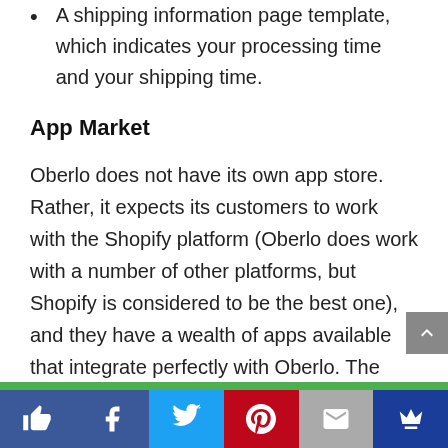A shipping information page template, which indicates your processing time and your shipping time.
App Market
Oberlo does not have its own app store. Rather, it expects its customers to work with the Shopify platform (Oberlo does work with a number of other platforms, but Shopify is considered to be the best one), and they have a wealth of apps available that integrate perfectly with Oberlo. The reason why